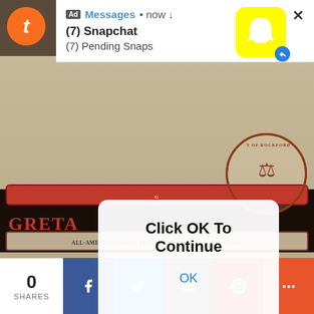[Figure (screenshot): Mobile browser screenshot showing a Tumblr page with overlapping UI elements: an advertisement notification for Snapchat showing '(7) Snapchat' and '(7) Pending Snaps', an alert dialog saying 'Click OK To Continue' with an OK button, a background showing what appears to be a baseball card related to 'GRETA' and 'ALL-AMERICAN GIRLS PROFESSIONAL BASEBALL LEAGUE', and a social media share bar at the bottom showing 0 SHARES with Facebook, Twitter, Email, Pinterest, and more buttons.]